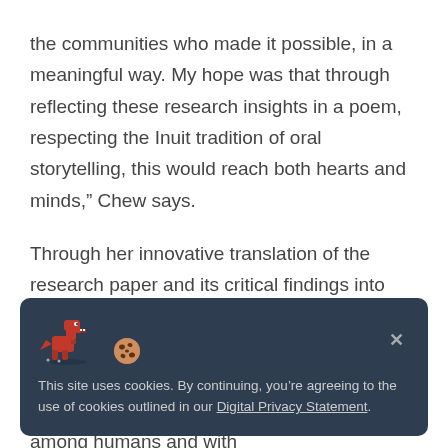the communities who made it possible, in a meaningful way. My hope was that through reflecting these research insights in a poem, respecting the Inuit tradition of oral storytelling, this would reach both hearts and minds,” Chew says.
Through her innovative translation of the research paper and its critical findings into poetic form, Chew was able to shine a spotlight on the importance of authentic communication, environmental stewardship, community building, and connection — both among humans and with
[Figure (other): Cookie consent banner with a red pixel-art dinosaur and cookie emoji icon, a close button (x), and text: 'This site uses cookies. By continuing, you’re agreeing to the use of cookies outlined in our Digital Privacy Statement.']